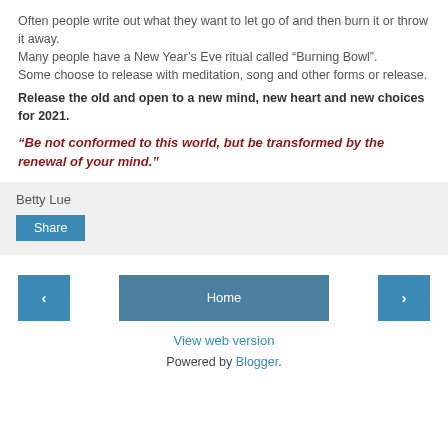Often people write out what they want to let go of and then burn it or throw it away.
Many people have a New Year's Eve ritual called “Burning Bowl”.
Some choose to release with meditation, song and other forms or release.
Release the old and open to a new mind, new heart and new choices for 2021.
“Be not conformed to this world, but be transformed by the renewal of your mind.”
Betty Lue
Share
Home
View web version
Powered by Blogger.